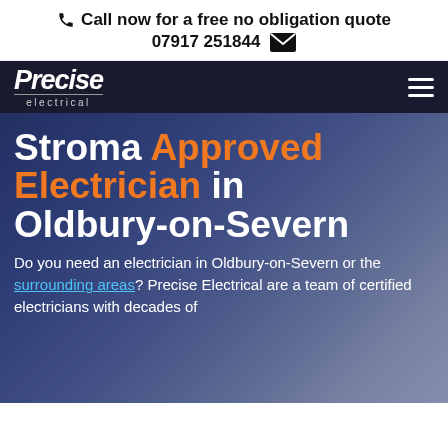Call now for a free no obligation quote 07917 251844
[Figure (screenshot): Precise Electrical logo with navigation hamburger menu on dark navy background]
Stroma Approved Electrician in Oldbury-on-Severn
Do you need an electrician in Oldbury-on-Severn or the surrounding areas? Precise Electrical are a team of certified electricians with decades of